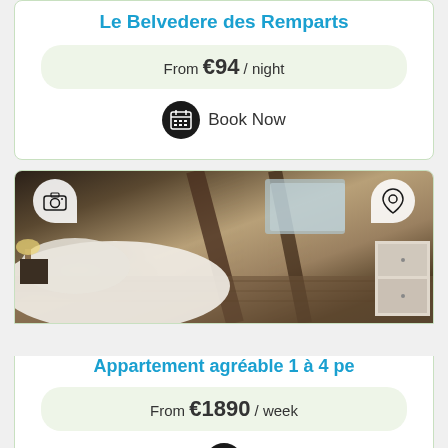Le Belvedere des Remparts
From €94 / night
Book Now
[Figure (photo): Interior photo of an attic-style bedroom with exposed wooden beams, a bed with white linens, hardwood floors, a bedside lamp, and a skylight. Two overlay icon bubbles: a camera icon on the left and a location pin on the right.]
Appartement agréable 1 à 4 pe
From €1890 / week